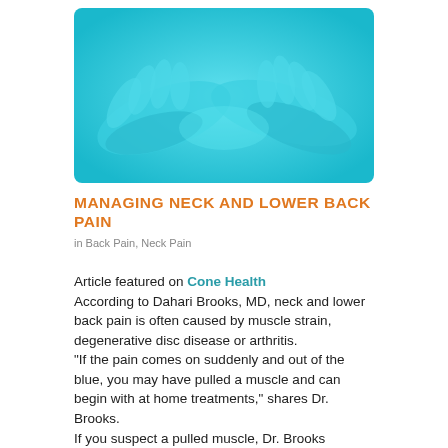[Figure (photo): Photo of hands performing a massage on someone's back/neck, tinted in cyan/teal blue color]
MANAGING NECK AND LOWER BACK PAIN
in Back Pain, Neck Pain
Article featured on Cone Health
According to Dahari Brooks, MD, neck and lower back pain is often caused by muscle strain, degenerative disc disease or arthritis.
“If the pain comes on suddenly and out of the blue, you may have pulled a muscle and can begin with at home treatments,” shares Dr. Brooks.
If you suspect a pulled muscle, Dr. Brooks suggests resting for a day. You can treat pain with over-the-counter anti-inflammatory medications. In the first 24